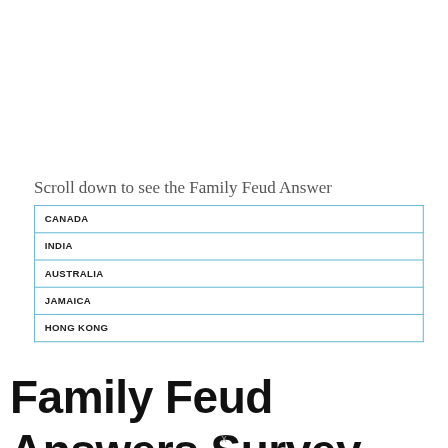Scroll down to see the Family Feud Answer
| CANADA |
| INDIA |
| AUSTRALIA |
| JAMAICA |
| HONG KONG |
Family Feud Answers Survey
x